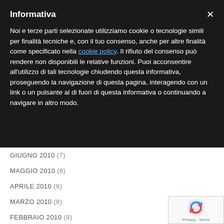Informativa
Noi e terze parti selezionate utilizziamo cookie o tecnologie simili per finalità tecniche e, con il tuo consenso, anche per altre finalità come specificato nella cookie policy. Il rifiuto del consenso può rendere non disponibili le relative funzioni. Puoi acconsentire all'utilizzo di tali tecnologie chiudendo questa informativa, proseguendo la navigazione di questa pagina, interagendo con un link o un pulsante al di fuori di questa informativa o continuando a navigare in altro modo.
GIUGNO 2010 (7)
MAGGIO 2010 (6)
APRILE 2010 (9)
MARZO 2010 (8)
FEBBRAIO 2010 (8)
GENNAIO 2010 (15)
DICEMBRE 2009 (8)